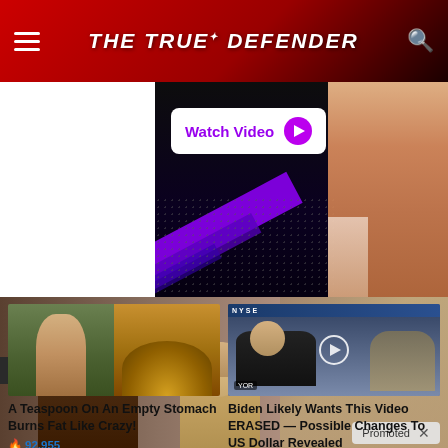THE TRUE DEFENDER
[Figure (screenshot): Ad banner with Watch Video button and anime/cartoon figure on dark background with purple elements]
[Figure (photo): JSV labeled image of two people talking, dark and light haired, with blurred background. Promoted badge with X.]
[Figure (photo): A Teaspoon On An Empty Stomach Burns Fat Like Crazy - thumbnail with woman and spice pile]
A Teaspoon On An Empty Stomach Burns Fat Like Crazy!
92,955
[Figure (screenshot): Biden Likely Wants This Video ERASED video thumbnail from NYSE/studio setting with play button]
Biden Likely Wants This Video ERASED — Possible Changes To US Dollar Revealed
40,298